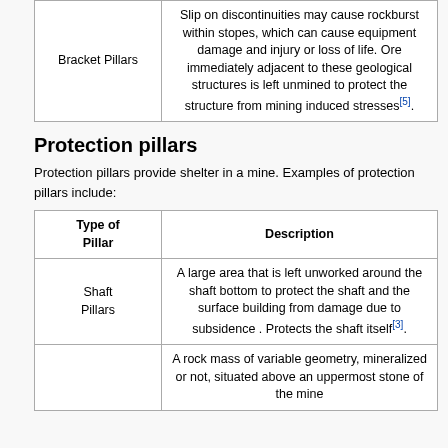| Type of Pillar | Description |
| --- | --- |
| Bracket Pillars | Slip on discontinuities may cause rockburst within stopes, which can cause equipment damage and injury or loss of life. Ore immediately adjacent to these geological structures is left unmined to protect the structure from mining induced stresses[5]. |
Protection pillars
Protection pillars provide shelter in a mine. Examples of protection pillars include:
| Type of Pillar | Description |
| --- | --- |
| Shaft Pillars | A large area that is left unworked around the shaft bottom to protect the shaft and the surface building from damage due to subsidence . Protects the shaft itself[3]. |
|  | A rock mass of variable geometry, mineralized or not, situated above an uppermost stone of the mine |